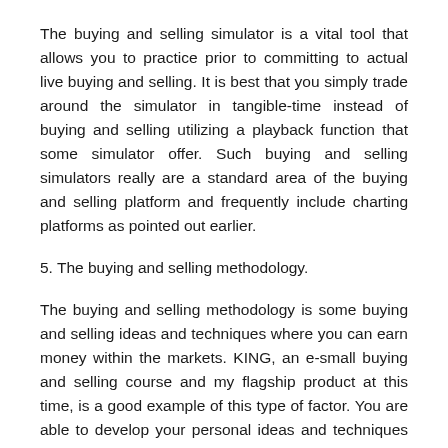The buying and selling simulator is a vital tool that allows you to practice prior to committing to actual live buying and selling. It is best that you simply trade around the simulator in tangible-time instead of buying and selling utilizing a playback function that some simulator offer. Such buying and selling simulators really are a standard area of the buying and selling platform and frequently include charting platforms as pointed out earlier.
5. The buying and selling methodology.
The buying and selling methodology is some buying and selling ideas and techniques where you can earn money within the markets. KING, an e-small buying and selling course and my flagship product at this time, is a good example of this type of factor. You are able to develop your personal ideas and techniques which may need you to do your personal research or buy a buying and selling methodology from another trader. There are lots of such things so that available on the market, being offered so